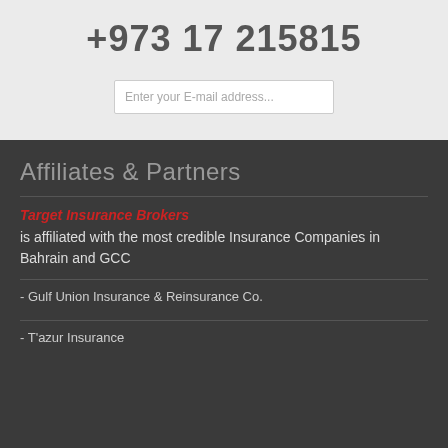+973 17 215815
Enter your E-mail address...
Affiliates & Partners
Target Insurance Brokers is affiliated with the most credible Insurance Companies in Bahrain and GCC
- Gulf Union Insurance & Reinsurance Co.
- T'azur Insurance